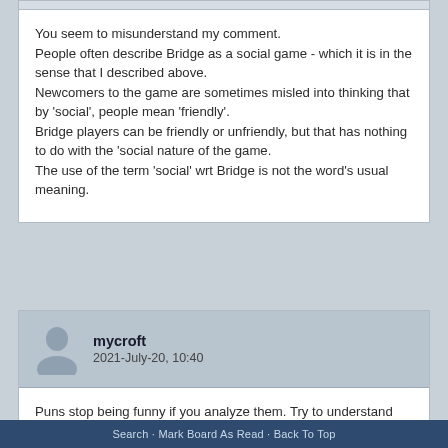You seem to misunderstand my comment.
People often describe Bridge as a social game - which it is in the sense that I described above.
Newcomers to the game are sometimes misled into thinking that by 'social', people mean 'friendly'.
Bridge players can be friendly or unfriendly, but that has nothing to do with the 'social nature of the game.
The use of the term 'social' wrt Bridge is not the word's usual meaning.
mycroft
2021-July-20, 10:40
Puns stop being funny if you analyze them. Try to understand the aphorism as it was intended.
Search · Mark Board As Read · Back To Top